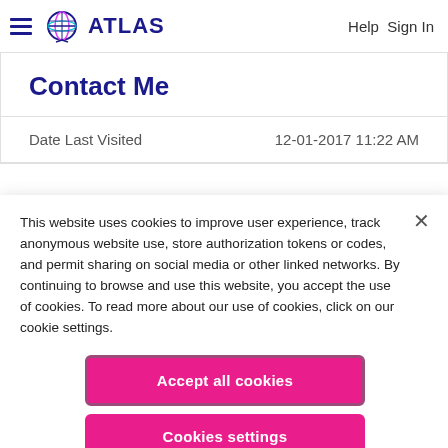ATLAS   Help Sign In
Contact Me
Date Last Visited   12-01-2017 11:22 AM
This website uses cookies to improve user experience, track anonymous website use, store authorization tokens or codes, and permit sharing on social media or other linked networks. By continuing to browse and use this website, you accept the use of cookies. To read more about our use of cookies, click on our cookie settings.
Accept all cookies
Cookies settings